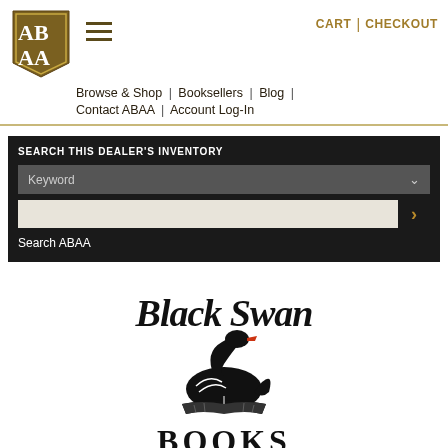ABAA logo, hamburger menu, CART | CHECKOUT, Browse & Shop | Booksellers | Blog | Contact ABAA | Account Log-In
SEARCH THIS DEALER'S INVENTORY
Keyword
Search ABAA
[Figure (logo): Black Swan Books logo — decorative serif text 'Black Swan' above an illustration of a black swan sitting on an open book, with 'BOOKS' in capitals below]